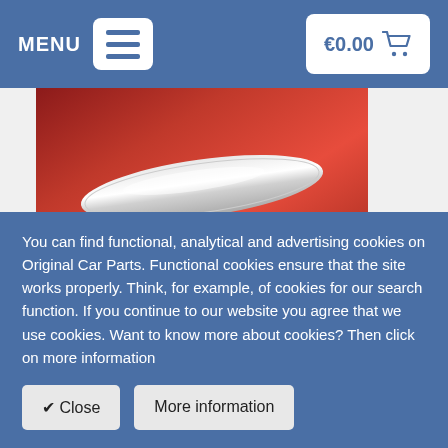MENU  €0.00
[Figure (photo): Close-up of a red car door with a chrome/silver LED scuff plate detail]
Opel scuff plates set LED-iluminated
Create an impressive entrance with these easy-to-install LED scuff plates.
You can find functional, analytical and advertising cookies on Original Car Parts. Functional cookies ensure that the site works properly. Think, for example, of cookies for our search function. If you continue to our website you agree that we use cookies. Want to know more about cookies? Then click on more information
✔ Close   More information